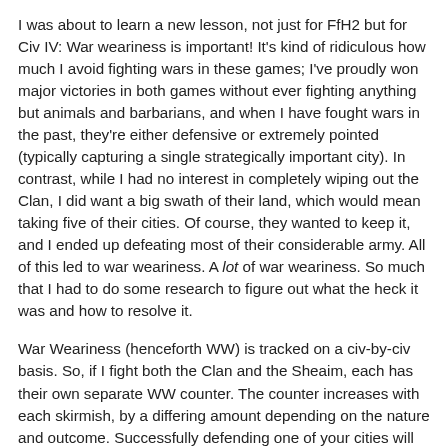I was about to learn a new lesson, not just for FfH2 but for Civ IV: War weariness is important! It's kind of ridiculous how much I avoid fighting wars in these games; I've proudly won major victories in both games without ever fighting anything but animals and barbarians, and when I have fought wars in the past, they're either defensive or extremely pointed (typically capturing a single strategically important city). In contrast, while I had no interest in completely wiping out the Clan, I did want a big swath of their land, which would mean taking five of their cities. Of course, they wanted to keep it, and I ended up defeating most of their considerable army. All of this led to war weariness. A lot of war weariness. So much that I had to do some research to figure out what the heck it was and how to resolve it.
War Weariness (henceforth WW) is tracked on a civ-by-civ basis. So, if I fight both the Clan and the Sheaim, each has their own separate WW counter. The counter increases with each skirmish, by a differing amount depending on the nature and outcome. Successfully defending one of your cities will have no impact; attacking and losing a fight on foreign soil will add it considerably (I'll have more on that